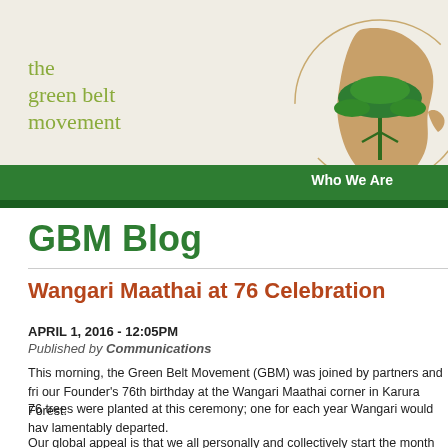[Figure (logo): The Green Belt Movement logo: a stylized map of Africa in tan/brown with a green acacia tree silhouette on top, with a circular arc around it. Text 'the green belt movement' in sage green serif font to the left.]
Who We Are
GBM Blog
Wangari Maathai at 76 Celebration
APRIL 1, 2016 - 12:05PM
Published by Communications
This morning, the Green Belt Movement (GBM) was joined by partners and fri... our Founder's 76th birthday at the Wangari Maathai corner in Karura Forest.
76 trees were planted at this ceremony; one for each year Wangari would hav... lamentably departed.
Our global appeal is that we all personally and collectively start the month of A...